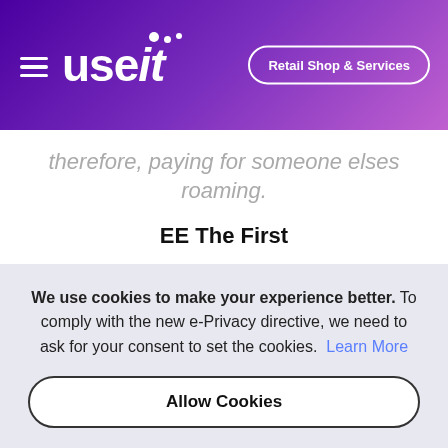useit — Retail Shop & Services
therefore, paying for someone elses roaming.
EE The First
UK operators have been allowed to introduce the charges since January 2021. However, they chose not to do so until recently, when EE broke ranks and
We use cookies to make your experience better. To comply with the new e-Privacy directive, we need to ask for your consent to set the cookies. Learn More
Allow Cookies